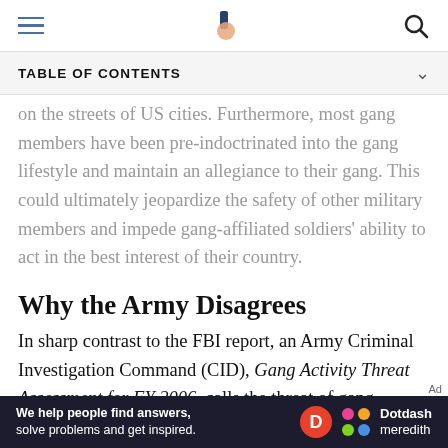TABLE OF CONTENTS
on the streets of US cities. Furthermore, most gang members have been pre-indoctrinated into the gang lifestyle and maintain an allegiance to their gang. This could ultimately jeopardize the safety of other military members and impede gang-affiliated soldiers' ability to act in the best interest of their country.
Why the Army Disagrees
In sharp contrast to the FBI report, an Army Criminal Investigation Command (CID), Gang Activity Threat Assessment for FY 2006, calls the threat of gang activity in the Army low. Their report concludes:
[Figure (other): Dotdash Meredith advertisement banner: 'We help people find answers, solve problems and get inspired.']